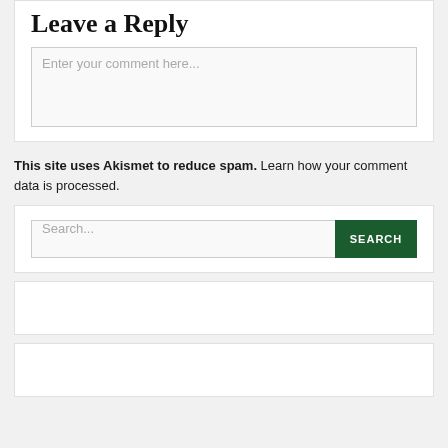Leave a Reply
Enter your comment here...
This site uses Akismet to reduce spam. Learn how your comment data is processed.
Search...
SEARCH